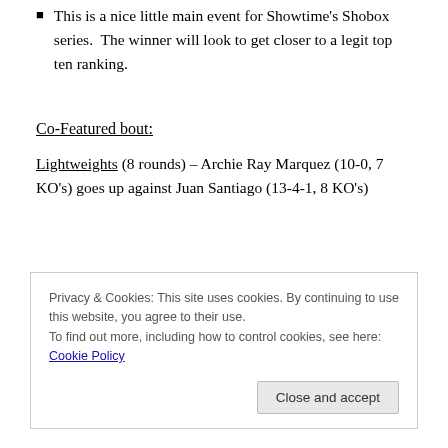This is a nice little main event for Showtime's Shobox series.  The winner will look to get closer to a legit top ten ranking.
Co-Featured bout:
Lightweights (8 rounds) – Archie Ray Marquez (10-0, 7 KO's) goes up against Juan Santiago (13-4-1, 8 KO's)
Privacy & Cookies: This site uses cookies. By continuing to use this website, you agree to their use.
To find out more, including how to control cookies, see here: Cookie Policy
previously undefeated Donaldo Holquin in June.  Of his